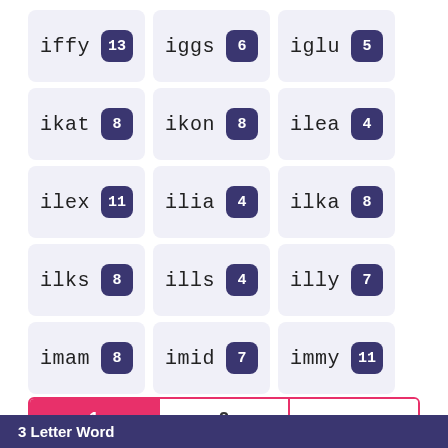iffy 13
iggs 6
iglu 5
ikat 8
ikon 8
ilea 4
ilex 11
ilia 4
ilka 8
ilks 8
ills 4
illy 7
imam 8
imid 7
immy 11
1  2  >>
3 Letter Word